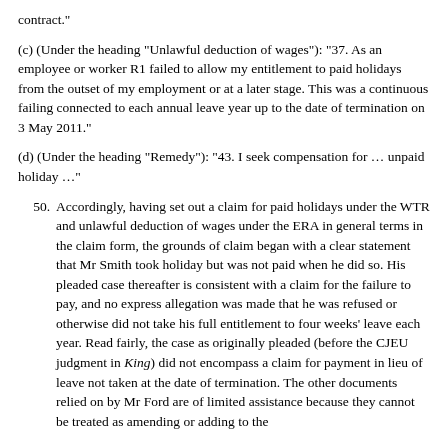contract."
(c) (Under the heading "Unlawful deduction of wages"): "37. As an employee or worker R1 failed to allow my entitlement to paid holidays from the outset of my employment or at a later stage. This was a continuous failing connected to each annual leave year up to the date of termination on 3 May 2011."
(d) (Under the heading "Remedy"): "43. I seek compensation for … unpaid holiday …"
50. Accordingly, having set out a claim for paid holidays under the WTR and unlawful deduction of wages under the ERA in general terms in the claim form, the grounds of claim began with a clear statement that Mr Smith took holiday but was not paid when he did so. His pleaded case thereafter is consistent with a claim for the failure to pay, and no express allegation was made that he was refused or otherwise did not take his full entitlement to four weeks' leave each year. Read fairly, the case as originally pleaded (before the CJEU judgment in King) did not encompass a claim for payment in lieu of leave not taken at the date of termination. The other documents relied on by Mr Ford are of limited assistance because they cannot be treated as amending or adding to the pleaded claim.